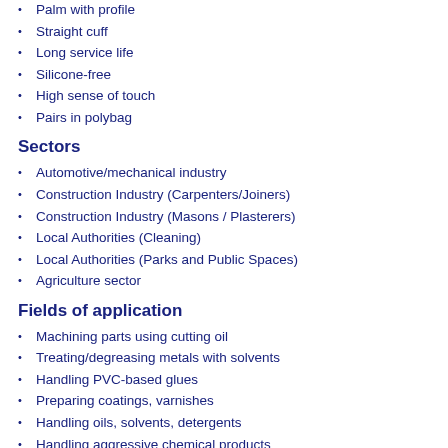Palm with profile
Straight cuff
Long service life
Silicone-free
High sense of touch
Pairs in polybag
Sectors
Automotive/mechanical industry
Construction Industry (Carpenters/Joiners)
Construction Industry (Masons / Plasterers)
Local Authorities (Cleaning)
Local Authorities (Parks and Public Spaces)
Agriculture sector
Fields of application
Machining parts using cutting oil
Treating/degreasing metals with solvents
Handling PVC-based glues
Preparing coatings, varnishes
Handling oils, solvents, detergents
Handling aggressive chemical products